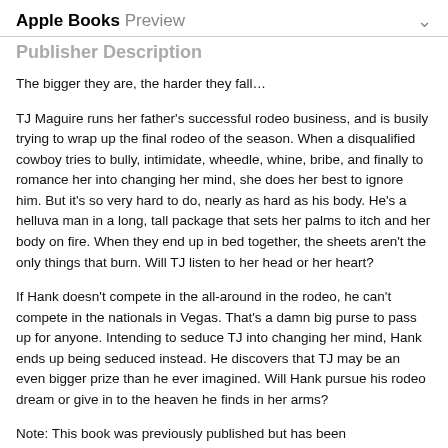Apple Books Preview
Publisher Description
The bigger they are, the harder they fall…
TJ Maguire runs her father's successful rodeo business, and is busily trying to wrap up the final rodeo of the season. When a disqualified cowboy tries to bully, intimidate, wheedle, whine, bribe, and finally to romance her into changing her mind, she does her best to ignore him. But it's so very hard to do, nearly as hard as his body. He's a helluva man in a long, tall package that sets her palms to itch and her body on fire. When they end up in bed together, the sheets aren't the only things that burn. Will TJ listen to her head or her heart?
If Hank doesn't compete in the all-around in the rodeo, he can't compete in the nationals in Vegas. That's a damn big purse to pass up for anyone. Intending to seduce TJ into changing her mind, Hank ends up being seduced instead. He discovers that TJ may be an even bigger prize than he ever imagined. Will Hank pursue his rodeo dream or give in to the heaven he finds in her arms?
Note: This book was previously published but has been